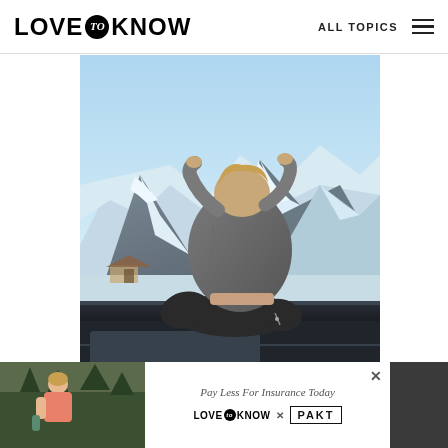LOVE to KNOW — ALL TOPICS
[Figure (photo): Woman sitting on top of a car roof viewed from behind, wearing a grey hoodie and black leggings, overlooking a dramatic snowy mountain range landscape under a blue sky.]
[Figure (photo): Advertisement banner at bottom. Left side shows a woman in pink tank top outdoors. Center shows white background with text 'Pay Less For Insurance Today' and 'LOVE to KNOW x PAKT' logos. Right side is dark grey.]